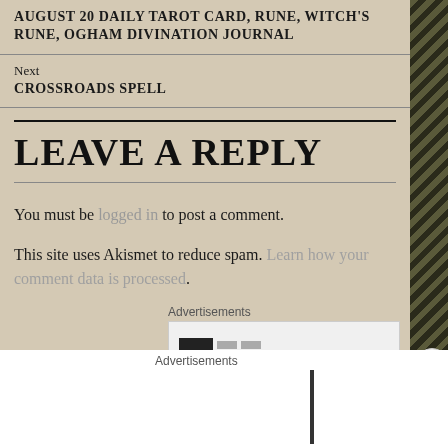AUGUST 20 DAILY TAROT CARD, RUNE, WITCH'S RUNE, OGHAM DIVINATION JOURNAL
Next
CROSSROADS SPELL
LEAVE A REPLY
You must be logged in to post a comment.
This site uses Akismet to reduce spam. Learn how your comment data is processed.
Advertisements
[Figure (other): Advertisement banner area with dark bar element]
Advertisements
[Figure (other): Bloomingdales advertisement banner: bloomingdales logo, View Today's Top Deals!, woman in hat, SHOP NOW >]